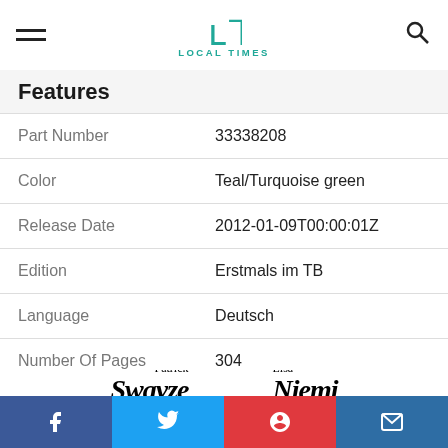LOCAL TIMES
Features
| Feature | Value |
| --- | --- |
| Part Number | 33338208 |
| Color | Teal/Turquoise green |
| Release Date | 2012-01-09T00:00:01Z |
| Edition | Erstmals im TB |
| Language | Deutsch |
| Number Of Pages | 304 |
| Publication Date | 2012-01-09T00:00:01Z |
[Figure (photo): Book cover preview showing Patrick Swayze and Lisa Niemi names]
Facebook | Twitter | Pinterest | Email